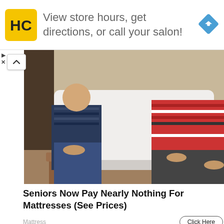[Figure (infographic): Advertisement banner with HC (Hair Club) logo in yellow square, text 'View store hours, get directions, or call your salon!' and a blue navigation diamond icon on the right]
[Figure (photo): Two people (a man in striped shirt and jeans on left, a woman in red striped sweater on right) sitting on a white mattress in a furniture store]
Seniors Now Pay Nearly Nothing For Mattresses (See Prices)
Mattress
[Figure (photo): Partially visible photo of wooden planks, likely a floor or ceiling, dark brown tones]